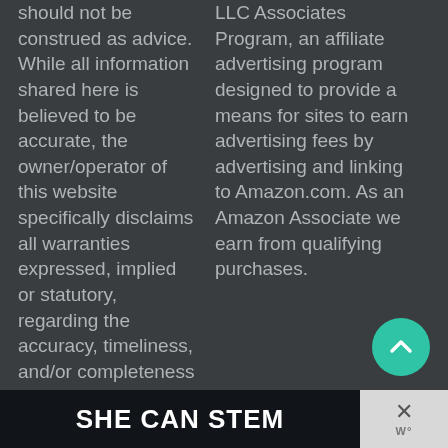should not be construed as advice. While all information shared here is believed to be accurate, the owner/operator of this website specifically disclaims all warranties expressed, implied or statutory, regarding the accuracy, timeliness, and/or completeness of the information contained herein. Please discuss any specific needs with a
LLC Associates Program, an affiliate advertising program designed to provide a means for sites to earn advertising fees by advertising and linking to Amazon.com. As an Amazon Associate we earn from qualifying purchases.
[Figure (other): Teal circular scroll-to-top button with upward chevron arrow]
[Figure (other): Banner advertisement: dark background with bold white text 'SHE CAN STEM', with a close button on the right side showing an X and a logo mark]